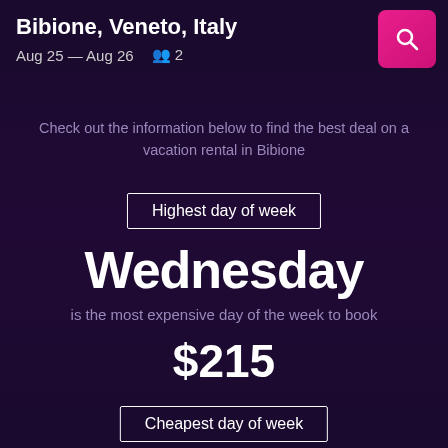Bibione, Veneto, Italy
Aug 25 — Aug 26   2
Check out the information below to find the best deal on a vacation rental in Bibione
Highest day of week
Wednesday
is the most expensive day of the week to book
$215
Cheapest day of week